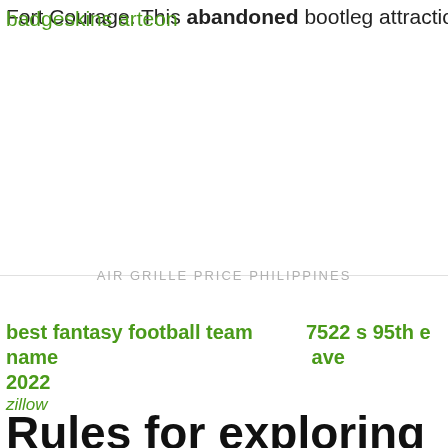Fort Courage. This abandoned bootleg attraction
badgeskins arteon
AIR GRILLE PRICE PHILIPPINES
best fantasy football team name 2022
7522 s 95th e ave
zillow
Rules for exploring
grand
mound